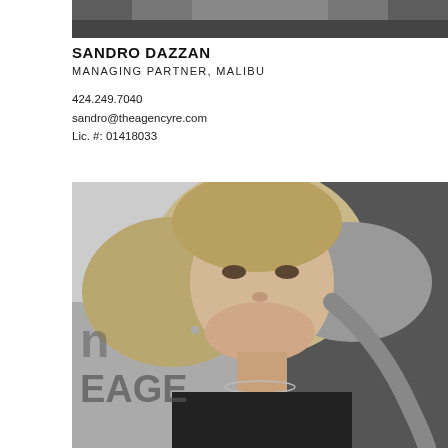[Figure (photo): Black and white partial photo of Sandro Dazzan at top of page, cropped]
SANDRO DAZZAN
MANAGING PARTNER, MALIBU
424.249.7040
sandro@theagencyre.com
Lic. #: 01418033
[Figure (photo): Black and white portrait photo of a blonde woman smiling, with partial text 'EAGE' visible in background, large format]